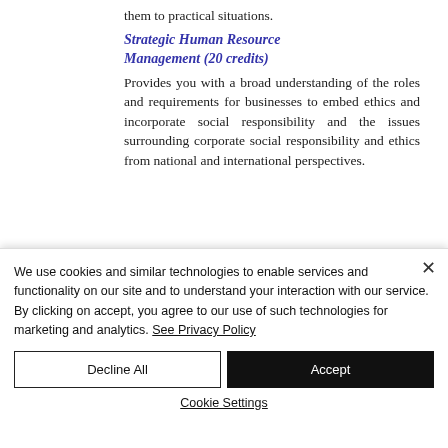them to practical situations.
Strategic Human Resource Management (20 credits)
Provides you with a broad understanding of the roles and requirements for businesses to embed ethics and incorporate social responsibility and the issues surrounding corporate social responsibility and ethics from national and international perspectives.
We use cookies and similar technologies to enable services and functionality on our site and to understand your interaction with our service. By clicking on accept, you agree to our use of such technologies for marketing and analytics. See Privacy Policy
Decline All
Accept
Cookie Settings